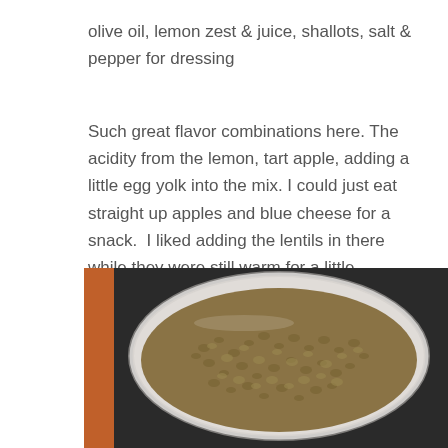olive oil, lemon zest & juice, shallots, salt & pepper for dressing
Such great flavor combinations here. The acidity from the lemon, tart apple, adding a little egg yolk into the mix. I could just eat straight up apples and blue cheese for a snack.  I liked adding the lentils in there while they were still warm for a little temperature contrast, too. PROTEIN!
[Figure (photo): A metal colander/strainer filled with cooked brown/green lentils, photographed from above at a slight angle, with a dark background.]